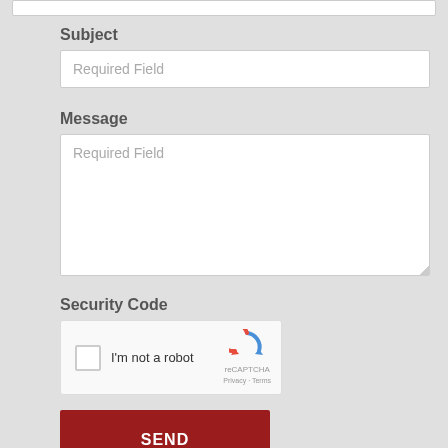Subject
Required Field
Message
Required Field
Security Code
[Figure (other): reCAPTCHA widget with checkbox labeled I'm not a robot]
SEND